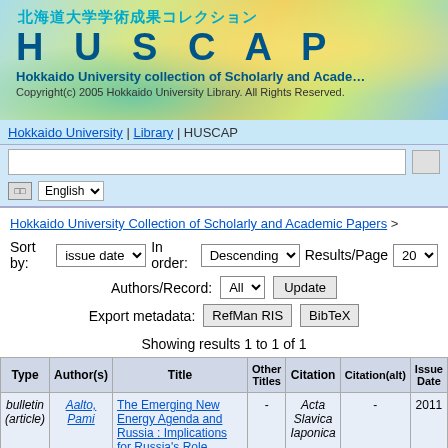[Figure (screenshot): HUSCAP header banner with Japanese text 北海道大学学術成果コレクション, large HUSCAP logo, and Hokkaido University collection of Scholarly and Academic subtitle, copyright notice]
Hokkaido University | Library | HUSCAP
□□ English ▾
Hokkaido University Collection of Scholarly and Academic Papers >
Sort by: issue date ▾  In order: Descending ▾  Results/Page 20 ▾
Authors/Record: All ▾  Update
Export metadata: RefMan RIS  BibTeX
Showing results 1 to 1 of 1
| Type | Author(s) | Title | Other Titles | Citation | Citation(alt) | Issue Date |
| --- | --- | --- | --- | --- | --- | --- |
| bulletin (article) | Aalto, Pami | The Emerging New Energy Agenda and Russia : Implications for Russia's Role | - | Acta Slavica Iaponica | - | 2011 |